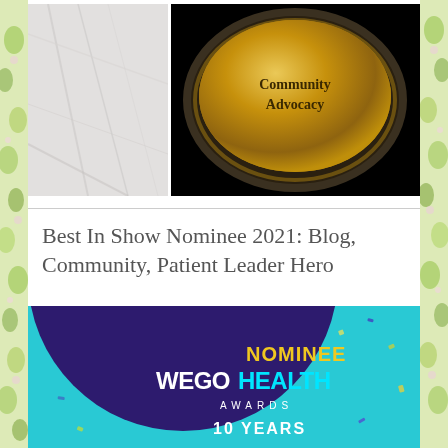[Figure (photo): Two side-by-side photos: left shows a marble/stone surface, right shows a circular medal/award with 'Community Advocacy' text on dark background]
Best In Show Nominee 2021: Blog, Community, Patient Leader Hero
[Figure (photo): WEGO Health Awards Nominee badge/graphic with teal background, dark purple circle, yellow 'NOMINEE' text, white 'WEGOHEALTH AWARDS' text, and confetti decorations]